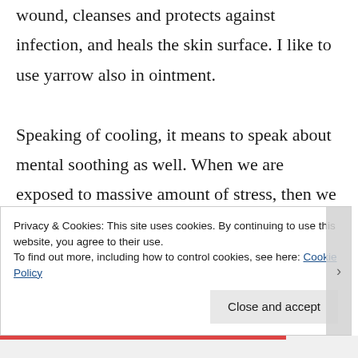wound, cleanses and protects against infection, and heals the skin surface. I like to use yarrow also in ointment.

Speaking of cooling, it means to speak about mental soothing as well. When we are exposed to massive amount of stress, then we may look for herbal ally. St.John's
Privacy & Cookies: This site uses cookies. By continuing to use this website, you agree to their use.
To find out more, including how to control cookies, see here: Cookie Policy
Close and accept